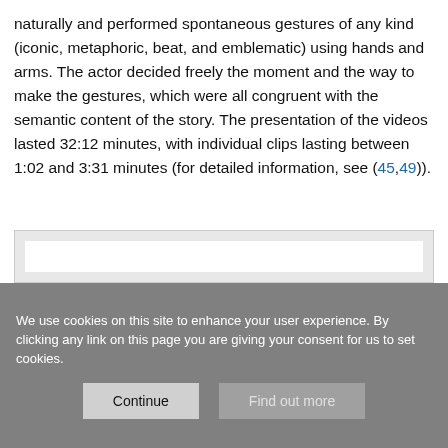naturally and performed spontaneous gestures of any kind (iconic, metaphoric, beat, and emblematic) using hands and arms. The actor decided freely the moment and the way to make the gestures, which were all congruent with the semantic content of the story. The presentation of the videos lasted 32:12 minutes, with individual clips lasting between 1:02 and 3:31 minutes (for detailed information, see (45,49)).
[Figure (other): A figure or image placeholder shown as a light gray rectangle with white inner area, content not visible.]
We use cookies on this site to enhance your user experience. By clicking any link on this page you are giving your consent for us to set cookies.